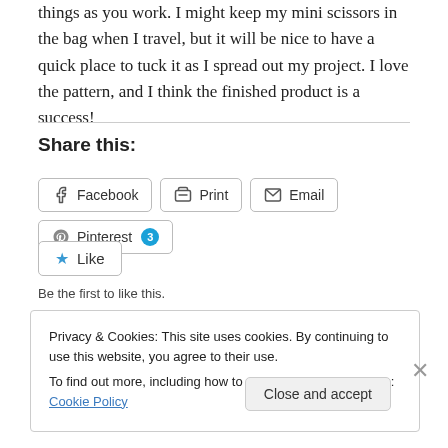things as you work. I might keep my mini scissors in the bag when I travel, but it will be nice to have a quick place to tuck it as I spread out my project. I love the pattern, and I think the finished product is a success!
Share this:
Facebook | Print | Email | Pinterest 3
Like
Be the first to like this.
Privacy & Cookies: This site uses cookies. By continuing to use this website, you agree to their use.
To find out more, including how to control cookies, see here: Cookie Policy
Close and accept